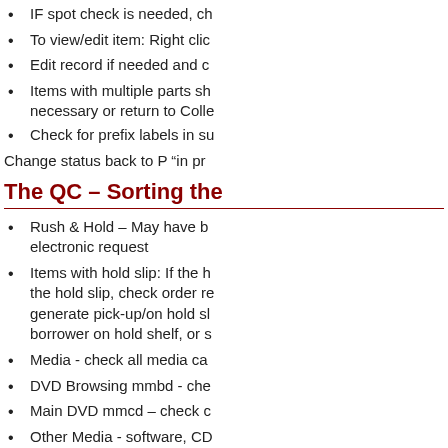IF spot check is needed, ch
To view/edit item: Right clic
Edit record if needed and c
Items with multiple parts sh necessary or return to Colle
Check for prefix labels in su
Change status back to P “in pr
The QC – Sorting the
Rush & Hold – May have b electronic request
Items with hold slip: If the h the hold slip, check order re generate pick-up/on hold sl borrower on hold shelf, or s
Media - check all media ca
DVD Browsing mmbd - che
Main DVD mmcd – check c
Other Media - software, CD item type, parts etc